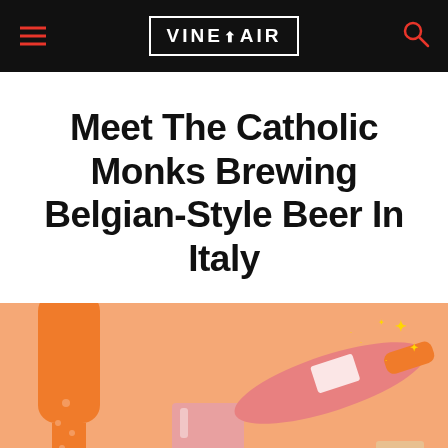VINEPAIR
Meet The Catholic Monks Brewing Belgian-Style Beer In Italy
[Figure (illustration): Illustrated scene on a peach/salmon background showing beer bottles and glasses in a flat graphic style. Left: a tall orange beer bottle with bubbles. Center: a half-full glass beer mug with teal/orange colors. Right side: a pink bottle pouring/spraying with sparkle effects, and a small glass with dots. Colors are orange, pink/rose, teal, and peach.]